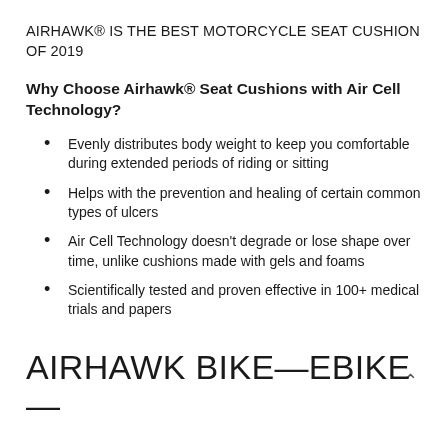AIRHAWK® IS THE BEST MOTORCYCLE SEAT CUSHION OF 2019
Why Choose Airhawk® Seat Cushions with Air Cell Technology?
Evenly distributes body weight to keep you comfortable during extended periods of riding or sitting
Helps with the prevention and healing of certain common types of ulcers
Air Cell Technology doesn't degrade or lose shape over time, unlike cushions made with gels and foams
Scientifically tested and proven effective in 100+ medical trials and papers
AIRHAWK BIKE—EBIKE—